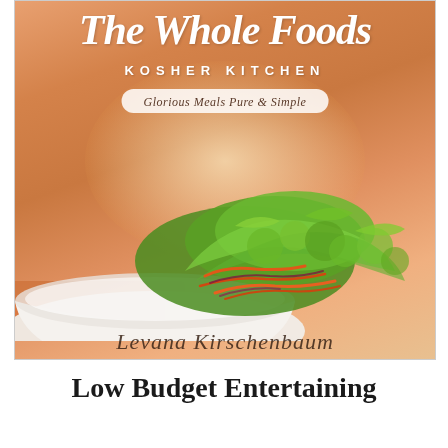[Figure (photo): Book cover of 'The Whole Foods Kosher Kitchen' with subtitle 'Glorious Meals Pure & Simple'. Features a white bowl filled with a colorful fresh salad of greens, shredded carrots, and beets on an orange-warm background.]
Low Budget Entertaining